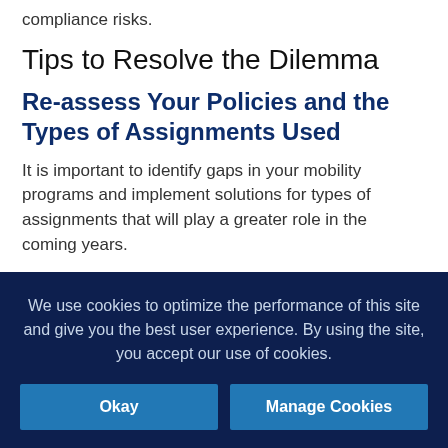compliance risks.
Tips to Resolve the Dilemma
Re-assess Your Policies and the Types of Assignments Used
It is important to identify gaps in your mobility programs and implement solutions for types of assignments that will play a greater role in the coming years.
Benefit from the rise of locally hired foreigners,
We use cookies to optimize the performance of this site and give you the best user experience. By using the site, you accept our use of cookies.